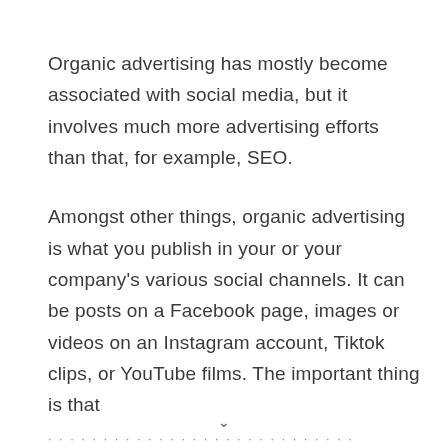Organic advertising has mostly become associated with social media, but it involves much more advertising efforts than that, for example, SEO.
Amongst other things, organic advertising is what you publish in your or your company's various social channels. It can be posts on a Facebook page, images or videos on an Instagram account, Tiktok clips, or YouTube films. The important thing is that ...